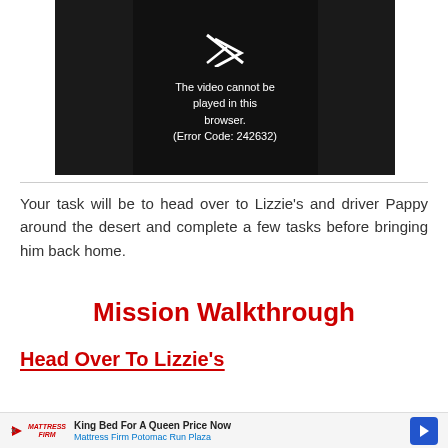[Figure (screenshot): Video player showing error message: 'The video cannot be played in this browser. (Error Code: 242632)' on dark background with a crossed-out play icon]
Your task will be to head over to Lizzie's and driver Pappy around the desert and complete a few tasks before bringing him back home.
Mission Walkthrough
Head Over To Lizzie's
[Figure (screenshot): Advertisement banner: Mattress Firm - King Bed For A Queen Price Now. Mattress Firm Potomac Run Plaza]